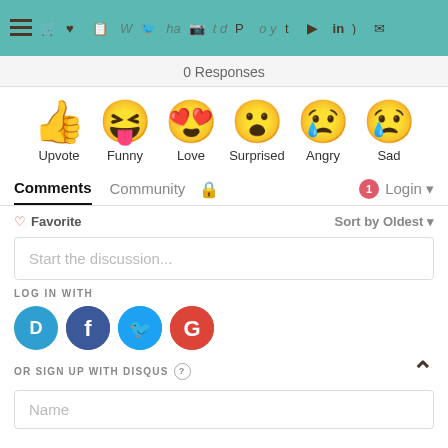[Figure (screenshot): Navigation bar with teal background showing hamburger menu, social media icons, and overlaid italic text 'What do you think?']
0 Responses
[Figure (infographic): Six emoji reactions: Upvote (thumbs up), Funny (laughing face with tongue), Love (heart eyes), Surprised (surprised face), Angry (crying angry face), Sad (sad face with tear)]
Comments  Community  🔒  1  Login
♡ Favorite   Sort by Oldest ▾
Start the discussion...
LOG IN WITH
[Figure (logo): Social login icons: Disqus (D), Facebook (f), Twitter bird, Google (G)]
OR SIGN UP WITH DISQUS ?
Name